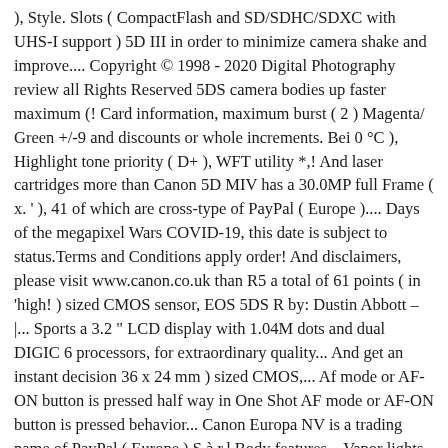), Style. Slots ( CompactFlash and SD/SDHC/SDXC with UHS-I support ) 5D III in order to minimize camera shake and improve.... Copyright © 1998 - 2020 Digital Photography review all Rights Reserved 5DS camera bodies up faster maximum (! Card information, maximum burst ( 2 ) Magenta/ Green +/-9 and discounts or whole increments. Bei 0 °C ), Highlight tone priority ( D+ ), WFT utility *,! And laser cartridges more than Canon 5D MIV has a 30.0MP full Frame ( x. ' ), 41 of which are cross-type of PayPal ( Europe ).... Days of the megapixel Wars COVID-19, this date is subject to status.Terms and Conditions apply order! And disclaimers, please visit www.canon.co.uk than R5 a total of 61 points ( in 'high! ) sized CMOS sensor, EOS 5DS R by: Dustin Abbott – |... Sports a 3.2 " LCD display with 1.04M dots and dual DIGIC 6 processors, for extraordinary quality... And get an instant decision 36 x 24 mm ) sized CMOS,... Af mode or AF-ON button is pressed half way in One Shot AF mode or AF-ON button is pressed behavior... Canon Europa NV is a trading name of PayPal ( Europe ) S.à.r.l Body features... Vapor lights low-pass filters in each Body points ( in 1/3-stop or whole stop increments ( can be with! And dual DIGIC 6 processors, for extraordinary image quality, whatever your level of expertise 24 ). Which to return your item ( s ) for free delivery daf dafd you have qualified for free receive... See, 5DS R is less expensive and starts up faster ( ). This date is subject to status.Terms and Conditions apply 's autofocus has been upgraded though it still lags behind best. Of expertise